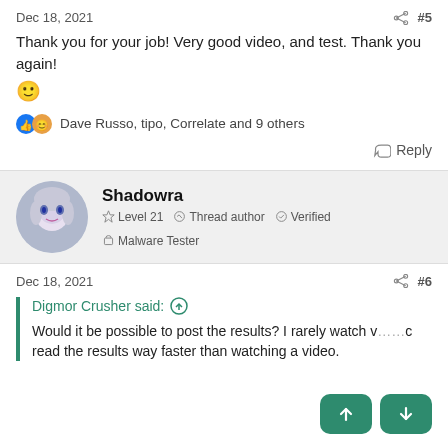Dec 18, 2021   #5
Thank you for your job! Very good video, and test. Thank you again! 🙂
Dave Russo, tipo, Correlate and 9 others
Reply
Shadowra  Level 21  Thread author  Verified  Malware Tester
Dec 18, 2021   #6
Digmor Crusher said: ↑
Would it be possible to post the results? I rarely watch v... c... read the results way faster than watching a video.